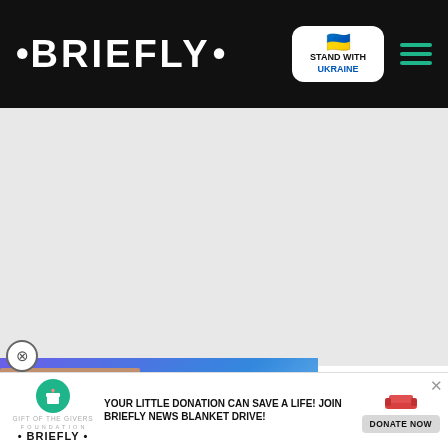• BRIEFLY •
[Figure (screenshot): Stand with Ukraine badge with heart icon]
[Figure (screenshot): Hamburger menu icon in teal/green]
[Figure (photo): Gray advertisement placeholder area]
[Figure (screenshot): Video thumbnail showing TV show characters with play button, labeled ARE NEW REPORTS REAL?]
nan from reality!! Good grief, his elusion is spectacular!"
[Figure (screenshot): Red chevron/down arrow button]
[Figure (screenshot): Bottom donation banner: YOUR LITTLE DONATION CAN SAVE A LIFE! JOIN BRIEFLY NEWS BLANKET DRIVE! with DONATE NOW button]